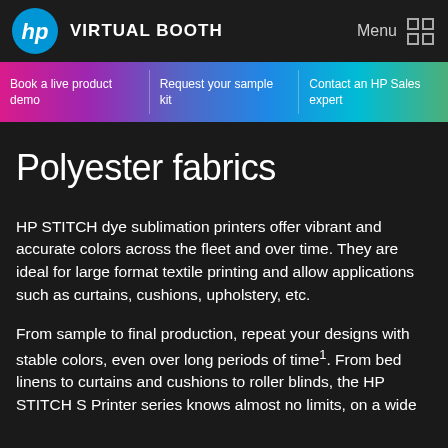VIRTUAL BOOTH — Menu
Book a live product demo
Request your sample kit
Contact an HP Sales expert
Polyester fabrics
HP STITCH dye sublimation printers offer vibrant and accurate colors across the fleet and over time. They are ideal for large format textile printing and allow applications such as curtains, cushions, upholstery, etc.
From sample to final production, repeat your designs with stable colors, even over long periods of time¹. From bed linens to curtains and cushions to roller blinds, the HP STITCH S Printer series knows almost no limits, on a wide